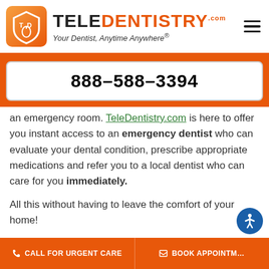[Figure (logo): TeleDentistry logo with orange shield icon and text 'TELE DENTISTRY .com — Your Dentist, Anytime Anywhere®']
888-588-3394
an emergency room. TeleDentistry.com is here to offer you instant access to an emergency dentist who can evaluate your dental condition, prescribe appropriate medications and refer you to a local dentist who can care for you immediately.
All this without having to leave the comfort of your home!
We are available 24 hours a day, 7 days a week, and
CALL FOR URGENT CARE
BOOK APPOINTMENT